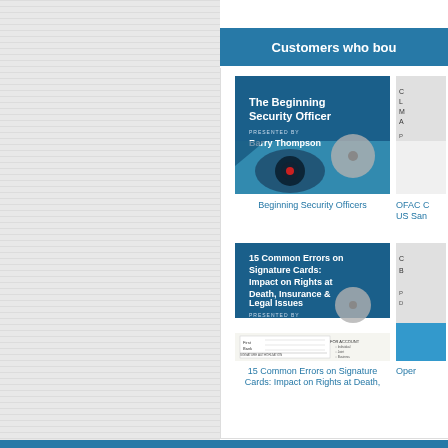This product was ado
Customers who bou
[Figure (illustration): Book cover: The Beginning Security Officer, Presented by Barry Thompson, with security camera imagery]
Beginning Security Officers
[Figure (illustration): Partial book cover on right side, partially cropped]
OFAC C US San
[Figure (illustration): Book cover: 15 Common Errors on Signature Cards: Impact on Rights at Death, Insurance & Legal Issues, Presented by Deborah Crawford, with signature card document imagery]
15 Common Errors on Signature Cards: Impact on Rights at Death,
[Figure (illustration): Partial book cover on right side, partially cropped, blue background]
Oper